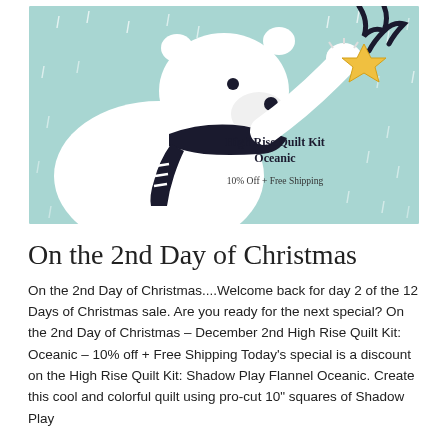[Figure (illustration): A illustrated polar bear wearing a dark navy scarf, holding up a golden star with one paw. The background is a light teal/mint color with white snow marks. Text overlay reads 'High Rise Quilt Kit Oceanic' and '10% Off + Free Shipping'.]
On the 2nd Day of Christmas
On the 2nd Day of Christmas....Welcome back for day 2 of the 12 Days of Christmas sale. Are you ready for the next special? On the 2nd Day of Christmas – December 2nd High Rise Quilt Kit: Oceanic – 10% off + Free Shipping Today's special is a discount on the High Rise Quilt Kit: Shadow Play Flannel Oceanic. Create this cool and colorful quilt using pro-cut 10" squares of Shadow Play